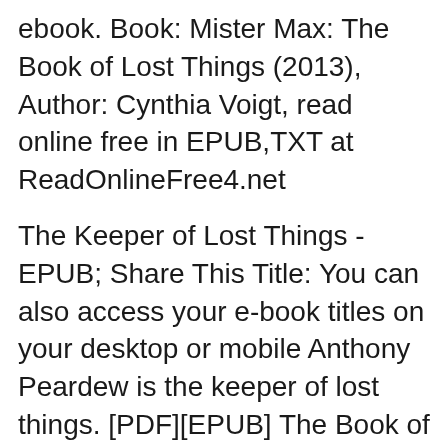ebook. Book: Mister Max: The Book of Lost Things (2013), Author: Cynthia Voigt, read online free in EPUB,TXT at ReadOnlineFree4.net
The Keeper of Lost Things - EPUB; Share This Title: You can also access your e-book titles on your desktop or mobile Anthony Peardew is the keeper of lost things. [PDF][EPUB] The Book of Lost Things Ebook Download About This Book: High in his attic bedroom, twelve-year-old David mourns the death of his mother, with only the
the land where lost things go Download the land where lost things go or read online here in PDF or EPUB. Please click